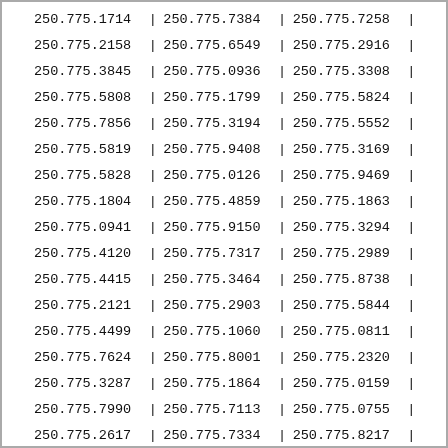| 250.775.1714 | | | 250.775.7384 | | | 250.775.7258 | | |
| 250.775.2158 | | | 250.775.6549 | | | 250.775.2916 | | |
| 250.775.3845 | | | 250.775.0936 | | | 250.775.3308 | | |
| 250.775.5808 | | | 250.775.1799 | | | 250.775.5824 | | |
| 250.775.7856 | | | 250.775.3194 | | | 250.775.5552 | | |
| 250.775.5819 | | | 250.775.9408 | | | 250.775.3169 | | |
| 250.775.5828 | | | 250.775.0126 | | | 250.775.9469 | | |
| 250.775.1804 | | | 250.775.4859 | | | 250.775.1863 | | |
| 250.775.0941 | | | 250.775.9150 | | | 250.775.3294 | | |
| 250.775.4120 | | | 250.775.7317 | | | 250.775.2989 | | |
| 250.775.4415 | | | 250.775.3464 | | | 250.775.8738 | | |
| 250.775.2121 | | | 250.775.2903 | | | 250.775.5844 | | |
| 250.775.4499 | | | 250.775.1060 | | | 250.775.0811 | | |
| 250.775.7624 | | | 250.775.8001 | | | 250.775.2320 | | |
| 250.775.3287 | | | 250.775.1864 | | | 250.775.0159 | | |
| 250.775.7990 | | | 250.775.7113 | | | 250.775.0755 | | |
| 250.775.2617 | | | 250.775.7334 | | | 250.775.8217 | | |
| 250.775.4118 | | | 250.775.0198 | | | 250.775.0206 | | |
| 250.775.4413 | | | 250.775.3846 | | | 250.775.2608 | | |